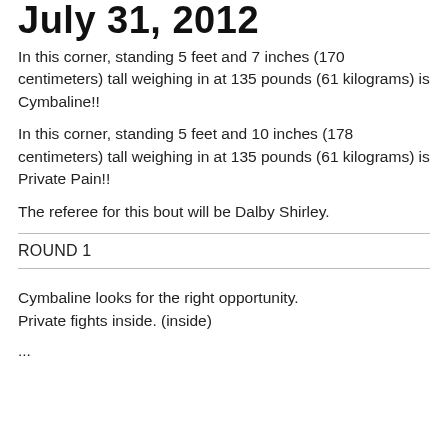July 31, 2012
In this corner, standing 5 feet and 7 inches (170 centimeters) tall weighing in at 135 pounds (61 kilograms) is Cymbaline!!
In this corner, standing 5 feet and 10 inches (178 centimeters) tall weighing in at 135 pounds (61 kilograms) is Private Pain!!
The referee for this bout will be Dalby Shirley.
ROUND 1
Cymbaline looks for the right opportunity.
Private fights inside. (inside)
...